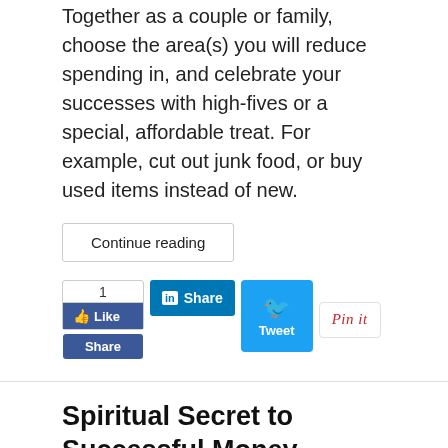Together as a couple or family, choose the area(s) you will reduce spending in, and celebrate your successes with high-fives or a special, affordable treat. For example, cut out junk food, or buy used items instead of new.
Continue reading
[Figure (screenshot): Social sharing buttons: Facebook Like/Share (1 like), LinkedIn Share, Twitter Tweet, Pinterest Pin it]
Spiritual Secret to Successful Money Management 3 of 7: Get Organized
Tom Lipp
Wednesday, 30 November 2016